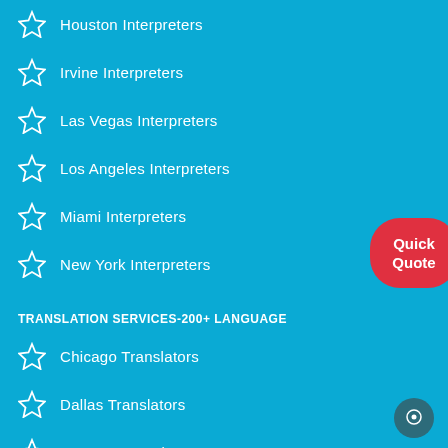Houston Interpreters
Irvine Interpreters
Las Vegas Interpreters
Los Angeles Interpreters
Miami Interpreters
New York Interpreters
TRANSLATION SERVICES-200+ LANGUAGE
Chicago Translators
Dallas Translators
Houston Translators
Irvine Translators